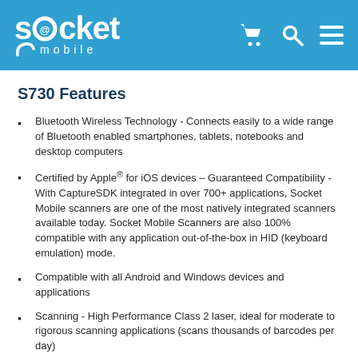socket mobile
S730 Features
Bluetooth Wireless Technology - Connects easily to a wide range of Bluetooth enabled smartphones, tablets, notebooks and desktop computers
Certified by Apple® for iOS devices – Guaranteed Compatibility - With CaptureSDK integrated in over 700+ applications, Socket Mobile scanners are one of the most natively integrated scanners available today. Socket Mobile Scanners are also 100% compatible with any application out-of-the-box in HID (keyboard emulation) mode.
Compatible with all Android and Windows devices and applications
Scanning - High Performance Class 2 laser, ideal for moderate to rigorous scanning applications (scans thousands of barcodes per day)